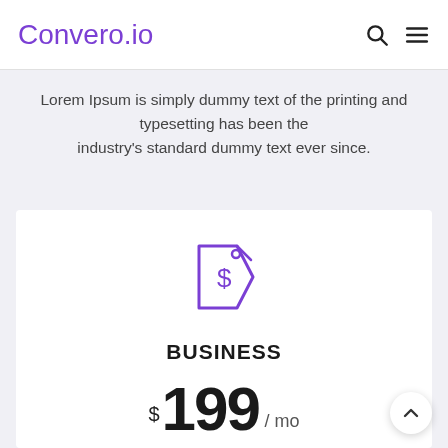Convero.io
Lorem Ipsum is simply dummy text of the printing and typesetting has been the industry's standard dummy text ever since.
[Figure (illustration): Price tag icon with a dollar sign, drawn in purple outline style]
BUSINESS
$199 /mo